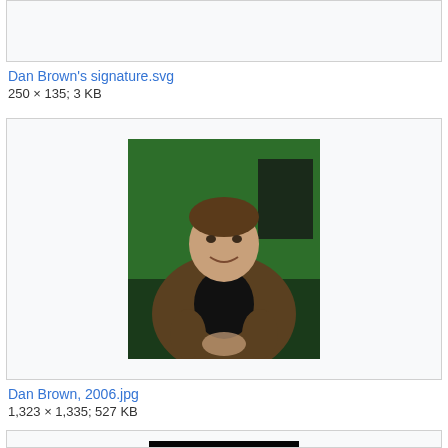[Figure (photo): Partial gallery box at top, content cut off]
Dan Brown's signature.svg
250 × 135; 3 KB
[Figure (photo): Photo of Dan Brown in 2006, a man in a brown jacket against a green background, smiling and gesturing]
Dan Brown, 2006.jpg
1,323 × 1,335; 527 KB
[Figure (photo): Partial gallery box at bottom showing a hand with symbols written on fingers against black background]